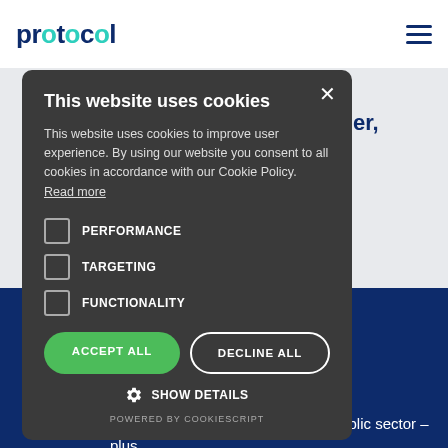protocol
[Figure (screenshot): Cookie consent modal dialog on the Protocol website. The modal has a dark gray background and contains: title 'This website uses cookies', body text explaining cookie usage, three unchecked checkboxes labeled PERFORMANCE, TARGETING, FUNCTIONALITY, two buttons (ACCEPT ALL in green, DECLINE ALL outlined), a SHOW DETAILS option with gear icon, and POWERED BY COOKIESCRIPT footer. Behind the modal, the Protocol website is partially visible with dark blue (navy) background at bottom showing text about opportunities in education, skills, training and the public sector.]
opportunities in education, skills, training and the public sector – plus